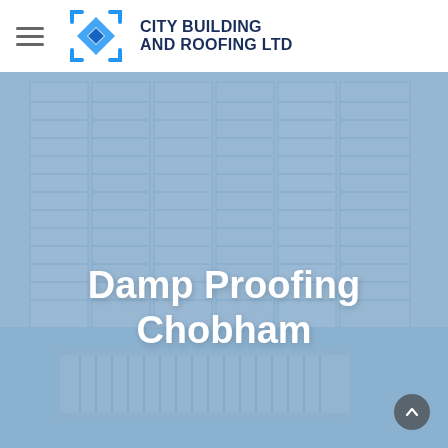[Figure (logo): City Building and Roofing Ltd logo with blue diamond/shield icon and company name in dark navy text]
[Figure (photo): Hero image showing interior room with plantation shutters and a radiator, overlaid with blue tint. Large white text reads 'Damp Proofing Chobham']
Damp Proofing Chobham